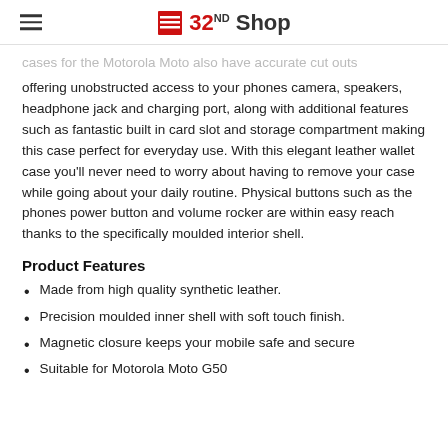32nd Shop
cases for the Motorola Moto also have accurate cut outs offering unobstructed access to your phones camera, speakers, headphone jack and charging port, along with additional features such as fantastic built in card slot and storage compartment making this case perfect for everyday use. With this elegant leather wallet case you'll never need to worry about having to remove your case while going about your daily routine. Physical buttons such as the phones power button and volume rocker are within easy reach thanks to the specifically moulded interior shell.
Product Features
Made from high quality synthetic leather.
Precision moulded inner shell with soft touch finish.
Magnetic closure keeps your mobile safe and secure
Suitable for Motorola Moto G50